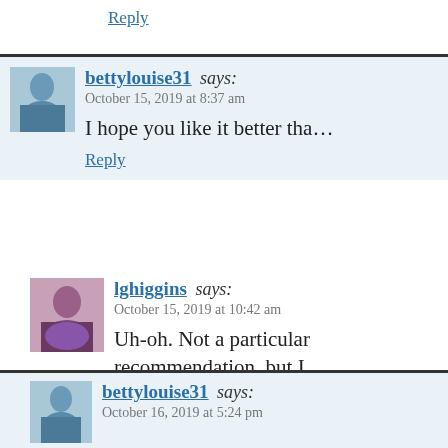Reply
bettylouise31 says: October 15, 2019 at 8:37 am
I hope you like it better tha…
Reply
lghiggins says: October 15, 2019 at 10:42 am
Uh-oh. Not a particular recommendation, but I try it out and see for my…
bettylouise31 says: October 16, 2019 at 5:24 pm